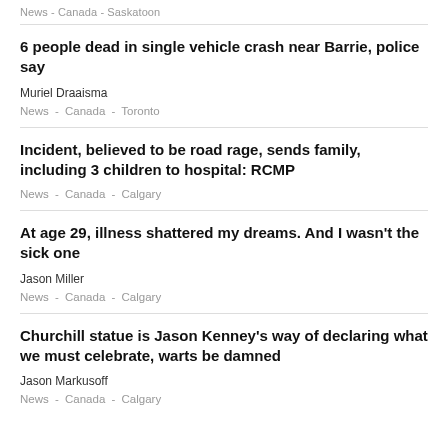News  -  Canada  -  Saskatoon
6 people dead in single vehicle crash near Barrie, police say
Muriel Draaisma
News  -  Canada  -  Toronto
Incident, believed to be road rage, sends family, including 3 children to hospital: RCMP
News  -  Canada  -  Calgary
At age 29, illness shattered my dreams. And I wasn't the sick one
Jason Miller
News  -  Canada  -  Calgary
Churchill statue is Jason Kenney's way of declaring what we must celebrate, warts be damned
Jason Markusoff
News  -  Canada  -  Calgary